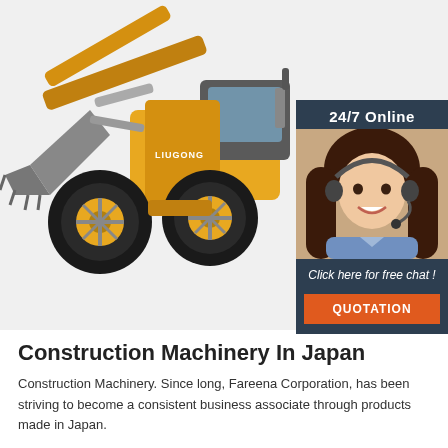[Figure (photo): Yellow wheel loader / front loader construction machine on a light grey background. On the right side overlapping the image is a customer service chat widget with a dark blue-grey background showing '24/7 Online', a photo of a smiling woman with a headset, text 'Click here for free chat!', and an orange 'QUOTATION' button.]
Construction Machinery In Japan
Construction Machinery. Since long, Fareena Corporation, has been striving to become a consistent business associate through products made in Japan.